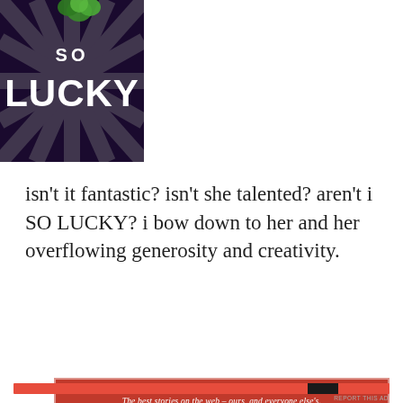[Figure (photo): A decorative image with dark purple/black background with radiating stripes and bold text reading 'SO LUCKY' with a green clover decoration at the top]
isn't it fantastic? isn't she talented? aren't i SO LUCKY? i bow down to her and her overflowing generosity and creativity.
[Figure (screenshot): Red advertisement banner reading: The best stories on the web – ours, and everyone else's.]
Privacy & Cookies: This site uses cookies. By continuing to use this website, you agree to their use.
To find out more, including how to control cookies, see here: Cookie Policy
Close and accept